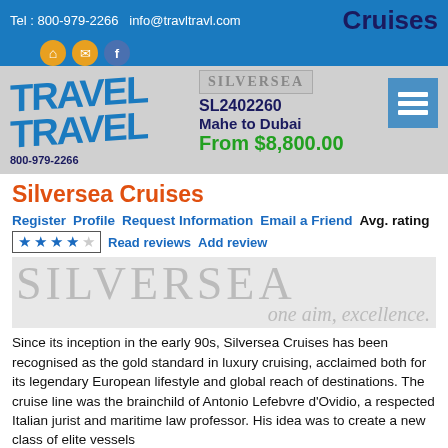Tel : 800-979-2266   info@travltravl.com   Cruises
[Figure (logo): Travel Travel logo with blue stylized text and phone number 800-979-2266]
SILVERSEA
SL2402260
Mahe to Dubai
From $8,800.00
Silversea Cruises
Register   Profile   Request Information   Email a Friend   Avg. rating
★★★★☆   Read reviews   Add review
[Figure (logo): Silversea banner with large grey SILVERSEA text and italic tagline 'one aim, excellence.']
Since its inception in the early 90s, Silversea Cruises has been recognised as the gold standard in luxury cruising, acclaimed both for its legendary European lifestyle and global reach of destinations. The cruise line was the brainchild of Antonio Lefebvre d'Ovidio, a respected Italian jurist and maritime law professor. His idea was to create a new class of elite vessels